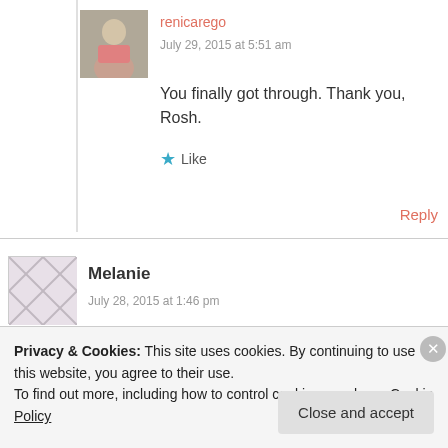renicarego
July 29, 2015 at 5:51 am
You finally got through. Thank you, Rosh.
★ Like
Reply
Melanie
July 28, 2015 at 1:46 pm
Privacy & Cookies: This site uses cookies. By continuing to use this website, you agree to their use.
To find out more, including how to control cookies, see here: Cookie Policy
Close and accept